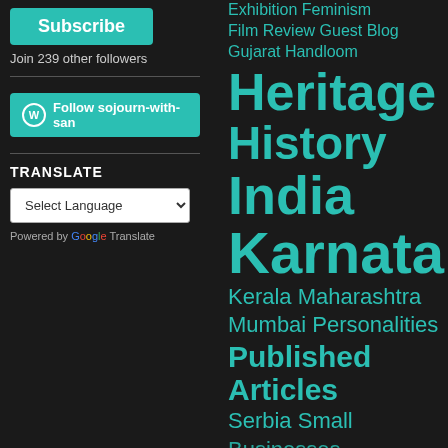[Figure (screenshot): Subscribe button (teal/green rounded rectangle) with white bold text 'Subscribe']
Join 239 other followers
[Figure (screenshot): WordPress Follow button with WP icon and text 'Follow sojourn-with-san' on teal background]
TRANSLATE
[Figure (screenshot): Language selector dropdown with 'Select Language' and down arrow, followed by 'Powered by Google Translate']
Exhibition  Feminism  Film Review  Guest Blog  Gujarat  Handloom  Heritage  History  India  Karnataka  Kerala  Maharashtra  Mumbai  Personalities  Published Articles  Serbia  Small Businesses